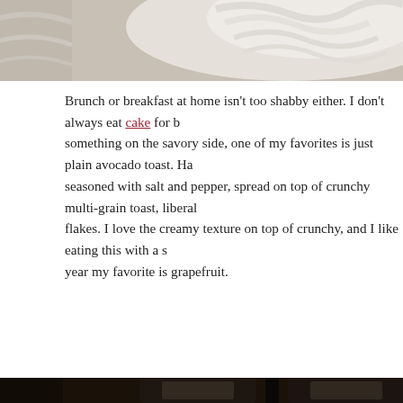[Figure (photo): Top portion of a photo showing a white decorative cake or food item with swirled frosting on a light background, cropped at top.]
Brunch or breakfast at home isn't too shabby either. I don't always eat cake for b... something on the savory side, one of my favorites is just plain avocado toast. Ha... seasoned with salt and pepper, spread on top of crunchy multi-grain toast, liberal... flakes. I love the creamy texture on top of crunchy, and I like eating this with a s... year my favorite is grapefruit.
[Figure (photo): Photo of dark wine/sauce bottles with labels reading 'Reduction Ready' and 'Savory' with decorative branding, shown in low-light moody setting.]